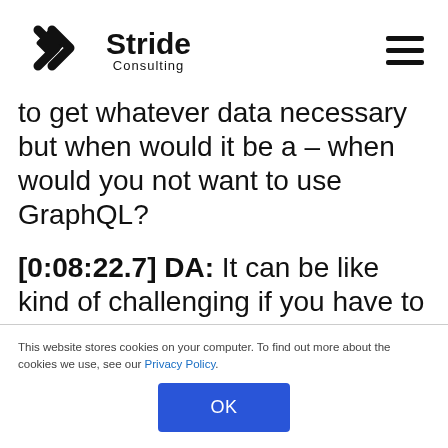Stride Consulting
to get whatever data necessary but when would it be a – when would you not want to use GraphQL?
[0:08:22.7] DA: It can be like kind of challenging if you have to gather data from a lot of different places like deeply
This website stores cookies on your computer. To find out more about the cookies we use, see our Privacy Policy.